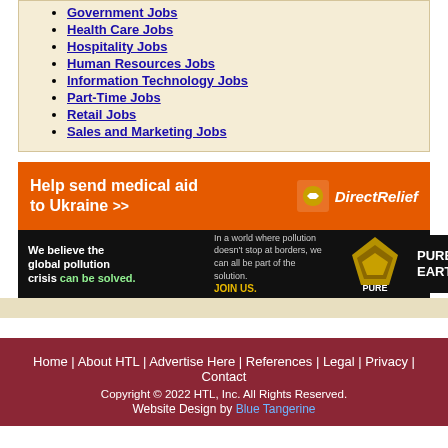Government Jobs
Health Care Jobs
Hospitality Jobs
Human Resources Jobs
Information Technology Jobs
Part-Time Jobs
Retail Jobs
Sales and Marketing Jobs
[Figure (infographic): Direct Relief orange banner ad: Help send medical aid to Ukraine >> with Direct Relief logo]
[Figure (infographic): Pure Earth black banner ad: We believe the global pollution crisis can be solved. In a world where pollution doesn't stop at borders, we can all be part of the solution. JOIN US. Pure Earth logo.]
Home | About HTL | Advertise Here | References | Legal | Privacy | Contact
Copyright © 2022 HTL, Inc. All Rights Reserved.
Website Design by Blue Tangerine